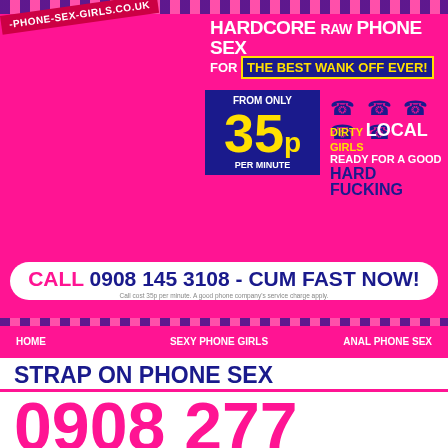-PHONE-SEX-GIRLS.CO.UK
HARDCORE RAW PHONE SEX FOR THE BEST WANK OFF EVER!
FROM ONLY 35p PER MINUTE
DIRTY LOCAL GIRLS READY FOR A GOOD HARD FUCKING
CALL 0908 145 3108 - CUM FAST NOW!
HOME
SEXY PHONE GIRLS
ANAL PHONE SEX
BI-SEXUAL PHONE SEX
DIRTY SEX CHAT
MATURE PHONE SEX
PREGNANT PHONE SEX
STRAP ON PHONE SEX
0908 277